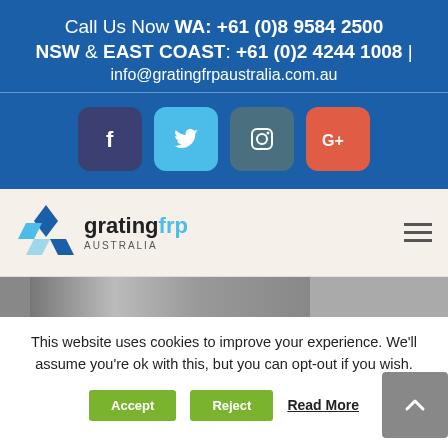Call Us Now WA: +61 (0)8 9584 2500 NSW & EAST COAST: +61 (0)2 4244 1008 | info@gratingfrpaustralia.com.au
[Figure (infographic): Social media icons row: Facebook, Twitter, Instagram, Google+]
[Figure (logo): Grating FRP Australia logo with diamond shapes and text]
[Figure (photo): Partial photo strip showing industrial grating or similar product]
This website uses cookies to improve your experience. We'll assume you're ok with this, but you can opt-out if you wish.
Accept | Reject | Read More